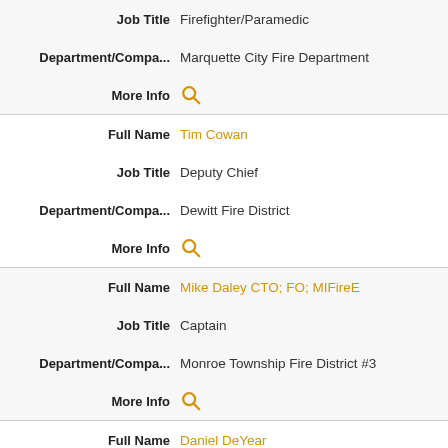| Field | Value |
| --- | --- |
| Job Title | Firefighter/Paramedic |
| Department/Compa... | Marquette City Fire Department |
| More Info | 🔍 |
| Full Name | Tim Cowan |
| Job Title | Deputy Chief |
| Department/Compa... | Dewitt Fire District |
| More Info | 🔍 |
| Full Name | Mike Daley CTO; FO; MIFireE |
| Job Title | Captain |
| Department/Compa... | Monroe Township Fire District #3 |
| More Info | 🔍 |
| Full Name | Daniel DeYear |
| Job Title | Deputy Chief |
| Department/Compa... | Dallas Fire-Rescue |